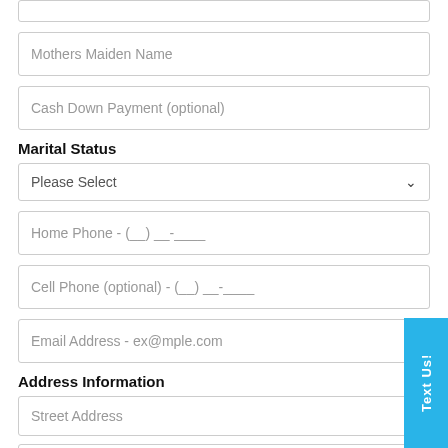(partial field at top)
Mothers Maiden Name
Cash Down Payment (optional)
Marital Status
Please Select
Home Phone - (__) __-____
Cell Phone (optional) - (__) __-____
Email Address - ex@mple.com
Address Information
Street Address
City